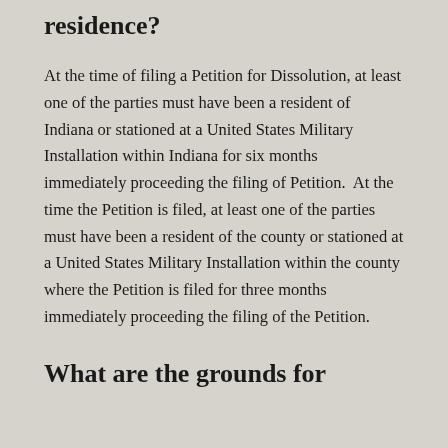residence?
At the time of filing a Petition for Dissolution, at least one of the parties must have been a resident of Indiana or stationed at a United States Military Installation within Indiana for six months immediately proceeding the filing of Petition.  At the time the Petition is filed, at least one of the parties must have been a resident of the county or stationed at a United States Military Installation within the county where the Petition is filed for three months immediately proceeding the filing of the Petition.
What are the grounds for